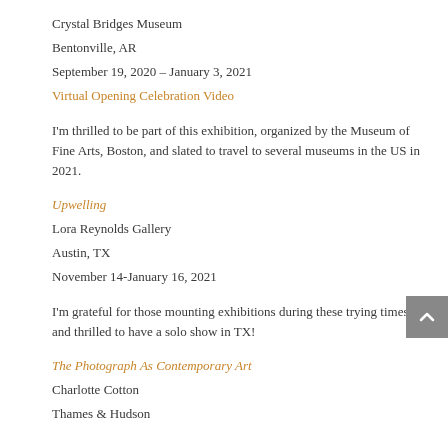Crystal Bridges Museum
Bentonville, AR
September 19, 2020 – January 3, 2021
Virtual Opening Celebration Video
I'm thrilled to be part of this exhibition, organized by the Museum of Fine Arts, Boston, and slated to travel to several museums in the US in 2021.
Upwelling
Lora Reynolds Gallery
Austin, TX
November 14-January 16, 2021
I'm grateful for those mounting exhibitions during these trying times, and thrilled to have a solo show in TX!
The Photograph As Contemporary Art
Charlotte Cotton
Thames & Hudson